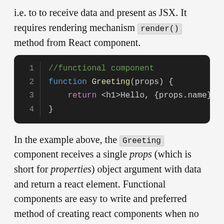i.e. to to receive data and present as JSX. It requires rendering mechanism render() method from React component.
[Figure (screenshot): Code block showing a functional React component: //functional component, function Greeting(props) {, return <h1>Hello, {props.name}</h1>, }]
In the example above, the Greeting component receives a single props (which is short for properties) object argument with data and return a react element. Functional components are easy to write and preferred method of creating react components when no state or methods (class or lifecycle) is not required.